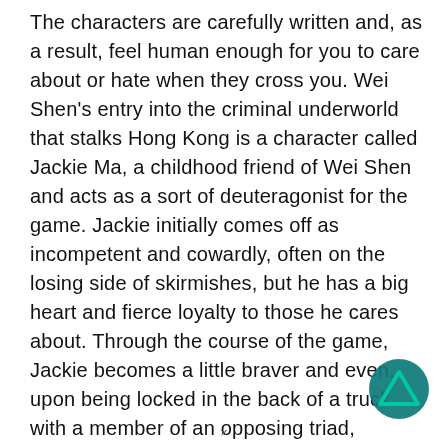The characters are carefully written and, as a result, feel human enough for you to care about or hate when they cross you. Wei Shen's entry into the criminal underworld that stalks Hong Kong is a character called Jackie Ma, a childhood friend of Wei Shen and acts as a sort of deuteragonist for the game. Jackie initially comes off as incompetent and cowardly, often on the losing side of skirmishes, but he has a big heart and fierce loyalty to those he cares about. Through the course of the game, Jackie becomes a little braver and even, upon being locked in the back of a truck with a member of an opposing triad, manages to hold his own and subdue his attacker before Wei can save him. Winston Chu is the leader of the Water Street Gang and is a Red Pole—a sort of Triad Lieutenant—in the Sun On Yee; he's got huge muscles and an even larger
[Figure (logo): Teal circular logo with a triangle/arrow shape inside, partially visible in the bottom right corner]